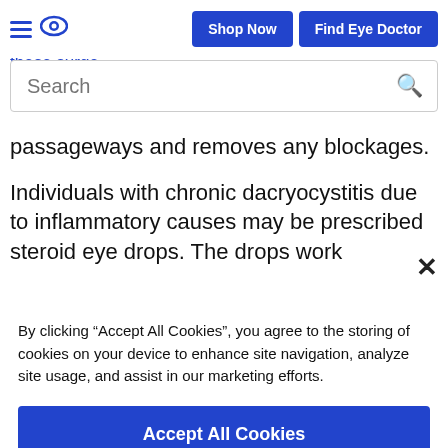Procedures may include: balloon catheter dilation, manipulation of these surgeries | Shop Now | Find Eye Doctor | dacryocystorhinostomy r...
passageways and removes any blockages.
Individuals with chronic dacryocystitis due to inflammatory causes may be prescribed steroid eye drops. The drops work
By clicking “Accept All Cookies”, you agree to the storing of cookies on your device to enhance site navigation, analyze site usage, and assist in our marketing efforts.
Accept All Cookies
Reject All
Cookies Settings